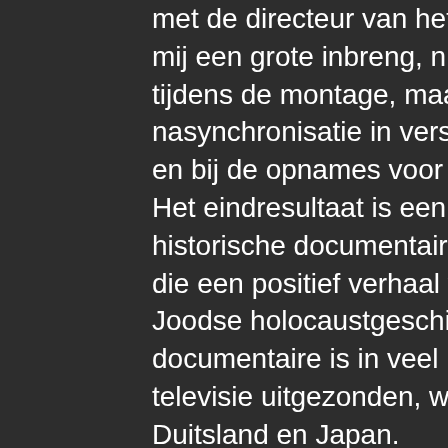met de directeur van het ZDF. Zij gaf mij een grote inbreng, niet alleen tijdens de montage, maar ook tijdens nasynchronisatie in verschillende talen en bij de opnames voor de muziek. Het eindresultaat is een boeiende historische documentaire geworden, die een positief verhaal vertelt uit de Joodse holocaustgeschiedenis. De documentaire is in veel landen op televisie uitgezonden, waaronder Duitsland en Japan.
Een bijzonder en soms vervelend aspect van het werken aan een succesvolle productie is de wens van anderen om dit succes te